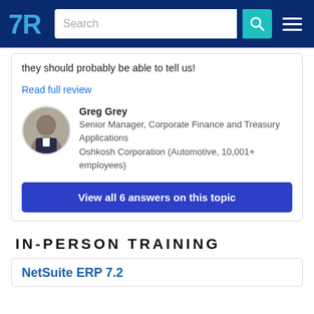TrustRadius - Search header bar
they should probably be able to tell us!
Read full review
Greg Grey
Senior Manager, Corporate Finance and Treasury Applications
Oshkosh Corporation (Automotive, 10,001+ employees)
View all 6 answers on this topic
IN-PERSON TRAINING
NetSuite ERP 7.2